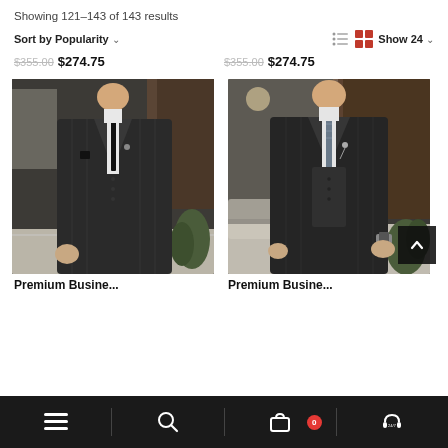Showing 121-143 of 143 results
Sort by Popularity   Show 24
$355.00 $274.75   $355.00 $274.75
[Figure (photo): Man wearing a dark charcoal pinstripe three-piece suit with black tie and pocket square, standing in an upscale interior setting.]
[Figure (photo): Man wearing a dark charcoal pinstripe three-piece suit with patterned tie and lapel pin, standing in an upscale interior setting. A scroll-to-top button is visible in the bottom right corner.]
Premium Busine...   Premium Busine...
Navigation bar with menu, search, cart (0), and support icons